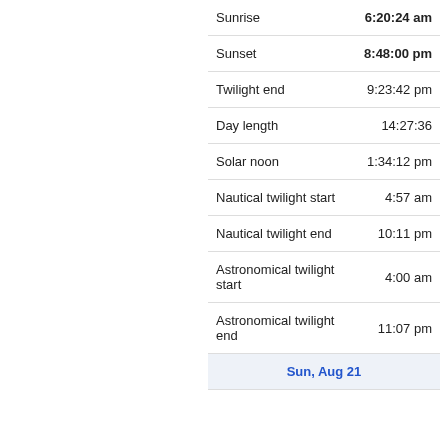| Label | Value |
| --- | --- |
| Sunrise | 6:20:24 am |
| Sunset | 8:48:00 pm |
| Twilight end | 9:23:42 pm |
| Day length | 14:27:36 |
| Solar noon | 1:34:12 pm |
| Nautical twilight start | 4:57 am |
| Nautical twilight end | 10:11 pm |
| Astronomical twilight start | 4:00 am |
| Astronomical twilight end | 11:07 pm |
Sun, Aug 21